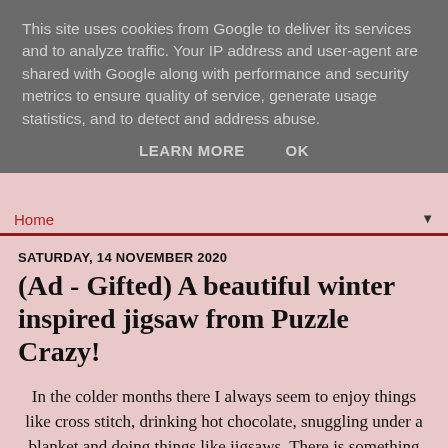This site uses cookies from Google to deliver its services and to analyze traffic. Your IP address and user-agent are shared with Google along with performance and security metrics to ensure quality of service, generate usage statistics, and to detect and address abuse.
LEARN MORE    OK
Home ▼
SATURDAY, 14 NOVEMBER 2020
(Ad - Gifted) A beautiful winter inspired jigsaw from Puzzle Crazy!
In the colder months there I always seem to enjoy things like cross stitch, drinking hot chocolate, snuggling under a blanket and doing things like jigsaws. There is something really relaxing about something as simple as doing a puzzle.